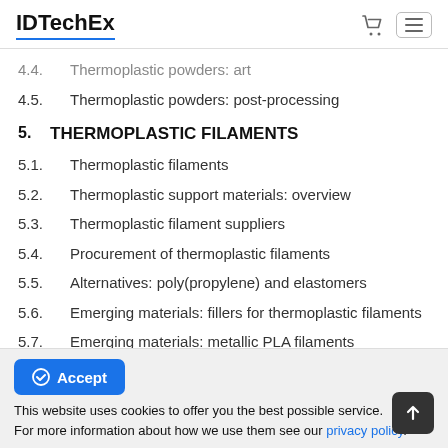IDTechEx
4.4. Thermoplastic powders: art
4.5. Thermoplastic powders: post-processing
5. THERMOPLASTIC FILAMENTS
5.1. Thermoplastic filaments
5.2. Thermoplastic support materials: overview
5.3. Thermoplastic filament suppliers
5.4. Procurement of thermoplastic filaments
5.5. Alternatives: poly(propylene) and elastomers
5.6. Emerging materials: fillers for thermoplastic filaments
5.7. Emerging materials: metallic PLA filaments
This website uses cookies to offer you the best possible service. For more information about how we use them see our privacy policy.